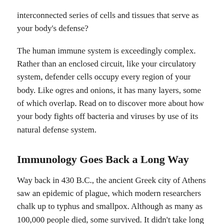interconnected series of cells and tissues that serve as your body's defense?
The human immune system is exceedingly complex. Rather than an enclosed circuit, like your circulatory system, defender cells occupy every region of your body. Like ogres and onions, it has many layers, some of which overlap. Read on to discover more about how your body fights off bacteria and viruses by use of its natural defense system.
Immunology Goes Back a Long Way
Way back in 430 B.C., the ancient Greek city of Athens saw an epidemic of plague, which modern researchers chalk up to typhus and smallpox. Although as many as 100,000 people died, some survived. It didn't take long for city officials to notice that those who recovered didn't fall ill a second time, and they put them to work caring for those currently ailing.